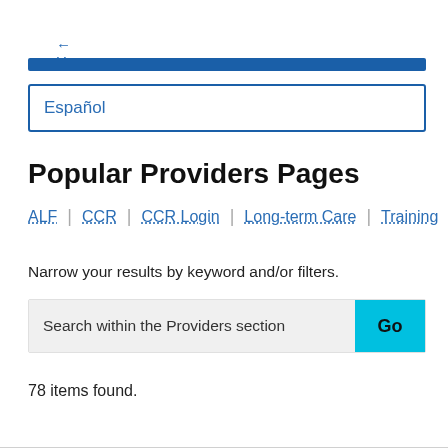← Home
[Figure (other): Blue horizontal navigation bar]
Español
Popular Providers Pages
ALF | CCR | CCR Login | Long-term Care | Training
Narrow your results by keyword and/or filters.
Search within the Providers section   Go
78 items found.